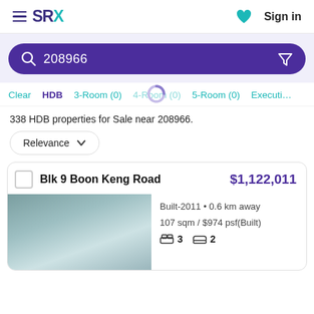SRX — Sign in
208966
Clear  HDB  3-Room (0)  4-Room (0)  5-Room (0)  Executive
338 HDB properties for Sale near 208966.
Relevance
Blk 9 Boon Keng Road  $1,122,011
Built-2011 • 0.6 km away
107 sqm / $974 psf(Built)
3   2